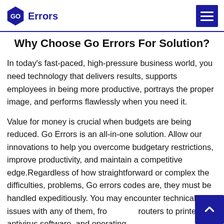GO Errors
Why Choose Go Errors For Solution?
In today's fast-paced, high-pressure business world, you need technology that delivers results, supports employees in being more productive, portrays the proper image, and performs flawlessly when you need it.
Value for money is crucial when budgets are being reduced. Go Errors is an all-in-one solution. Allow our innovations to help you overcome budgetary restrictions, improve productivity, and maintain a competitive edge.Regardless of how straightforward or complex the difficulties, problems, Go errors codes are, they must be handled expeditiously. You may encounter technical issues with any of them, from routers to printers, antivirus software, and operating